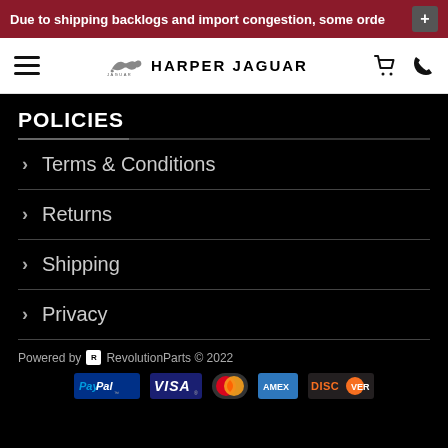Due to shipping backlogs and import congestion, some orde
[Figure (logo): Harper Jaguar logo with Jaguar leaper icon and text HARPER JAGUAR]
POLICIES
Terms & Conditions
Returns
Shipping
Privacy
Powered by RevolutionParts © 2022
[Figure (logo): Payment icons: PayPal, VISA, MasterCard, American Express, Discover]